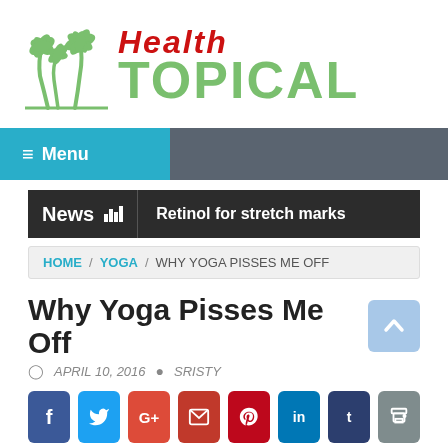[Figure (logo): Health Topical website logo with two palm trees on the left, red italic 'Health' text and large green 'TOPICAL' text]
≡ Menu
News | Retinol for stretch marks
HOME / YOGA / WHY YOGA PISSES ME OFF
Why Yoga Pisses Me Off
APRIL 10, 2016   SRISTY
[Figure (infographic): Row of 8 social sharing buttons: Facebook (blue), Twitter (light blue), Google+ (red-orange), Email (dark red), Pinterest (dark red), LinkedIn (blue), Tumblr (dark navy), Print (grey)]